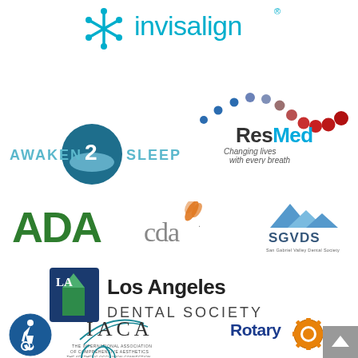[Figure (logo): Invisalign logo with snowflake-like icon and 'invisalign' text with registered trademark]
[Figure (logo): ResMed logo with dotted wave graphic - blue and red dots. Text: ResMed, Changing lives with every breath]
[Figure (logo): Awaken 2 Sleep logo with circular blue ocean wave and the number 2]
[Figure (logo): ADA (American Dental Association) logo in green]
[Figure (logo): CDA logo in gray/orange]
[Figure (logo): SGVDS (San Gabriel Valley Dental Society) logo with mountain graphic]
[Figure (logo): Los Angeles Dental Society logo with blue square icon and text]
[Figure (logo): Wheelchair accessibility icon in blue circle]
[Figure (logo): IACA - The International Association of Comprehensive Aesthetics, The Aesthetic Occlusion Connection]
[Figure (logo): Rotary International logo with text Rotary and golden gear wheel]
[Figure (logo): Gray scroll-to-top button with up arrow in top-right corner]
[Figure (logo): Partial logos visible at bottom of page]